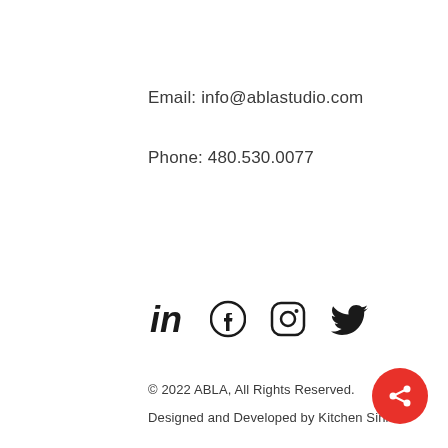Email: info@ablastudio.com
Phone: 480.530.0077
[Figure (infographic): Social media icons: LinkedIn, Facebook, Instagram, Twitter]
© 2022 ABLA, All Rights Reserved.
Designed and Developed by Kitchen Sink.